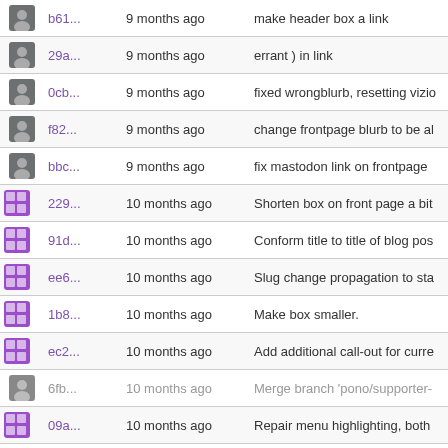| avatar | hash | time | message |
| --- | --- | --- | --- |
| b61... | 9 months ago | make header box a link |
| 29a... | 9 months ago | errant ) in link |
| 0cb... | 9 months ago | fixed wrongblurb, resetting vizio |
| f82... | 9 months ago | change frontpage blurb to be al |
| bbc... | 9 months ago | fix mastodon link on frontpage |
| 229... | 10 months ago | Shorten box on front page a bit |
| 91d... | 10 months ago | Conform title to title of blog pos |
| ee6... | 10 months ago | Slug change propagation to sta |
| 1b8... | 10 months ago | Make box smaller. |
| ec2... | 10 months ago | Add additional call-out for curre |
| 6fb... | 10 months ago | Merge branch 'pono/supporter- |
| 09a... | 10 months ago | Repair menu highlighting, both |
| 46a... | 10 months ago | simplify /about, fix formatting or |
| 814... | 10 months ago | Copyleft Compliance — Vizio – |
| 7af... | 10 months ago | Copyleft Compliance — Vizio – |
| 221... | 10 months ago | make description on front page |
| e1c... | 10 months ago | Copyleft Compliance — Vizio – |
| 66a... | 10 months ago | Copyleft Compliance — Vizio |